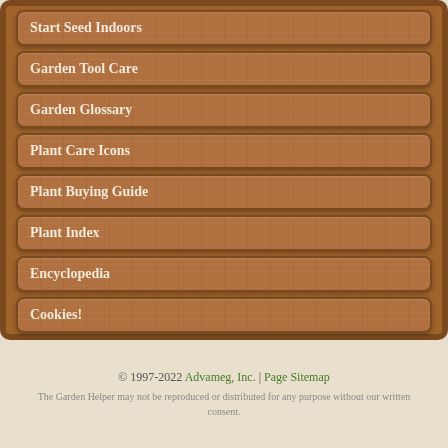Start Seed Indoors
Garden Tool Care
Garden Glossary
Plant Care Icons
Plant Buying Guide
Plant Index
Encyclopedia
Cookies!
© 1997-2022 Advameg, Inc. | Page Sitemap
The Garden Helper may not be reproduced or distributed for any purpose without our written consent.